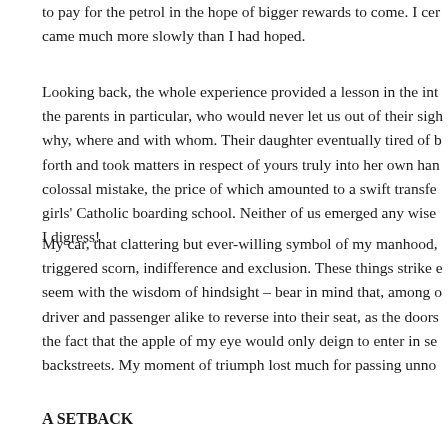to pay for the petrol in the hope of bigger rewards to come. I cer came much more slowly than I had hoped.
Looking back, the whole experience provided a lesson in the int the parents in particular, who would never let us out of their sig why, where and with whom. Their daughter eventually tired of b forth and took matters in respect of yours truly into her own han colossal mistake, the price of which amounted to a swift transfe girls' Catholic boarding school. Neither of us emerged any wise I digress!
My car, that clattering but ever-willing symbol of my manhood, triggered scorn, indifference and exclusion. These things strike seem with the wisdom of hindsight – bear in mind that, among driver and passenger alike to reverse into their seat, as the doors the fact that the apple of my eye would only deign to enter in se backstreets. My moment of triumph lost much for passing unno
A SETBACK